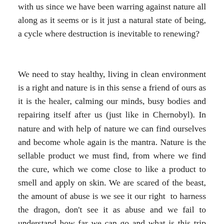with us since we have been warring against nature all along as it seems or is it just a natural state of being, a cycle where destruction is inevitable to renewing?
We need to stay healthy, living in clean environment is a right and nature is in this sense a friend of ours as it is the healer, calming our minds, busy bodies and repairing itself after us (just like in Chernobyl). In nature and with help of nature we can find ourselves and become whole again is the mantra. Nature is the sellable product we must find, from where we find the cure, which we come close to like a product to smell and apply on skin. We are scared of the beast, the amount of abuse is we see it our right to harness the dragon, don't see it as abuse and we fail to understand how far we can go and what is this trip about. We miss what it is to go far as we call life a journey, spiritual travelling, a trophy of having a life in luxury, a